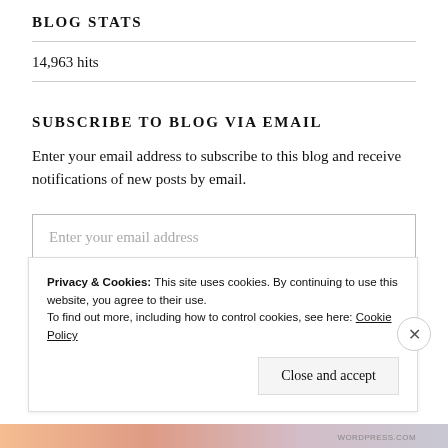BLOG STATS
14,963 hits
SUBSCRIBE TO BLOG VIA EMAIL
Enter your email address to subscribe to this blog and receive notifications of new posts by email.
Enter your email address
SUBSCRIBE
Privacy & Cookies: This site uses cookies. By continuing to use this website, you agree to their use.
To find out more, including how to control cookies, see here: Cookie Policy
Close and accept